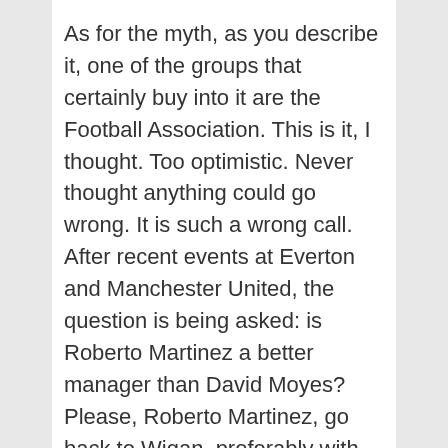As for the myth, as you describe it, one of the groups that certainly buy into it are the Football Association. This is it, I thought. Too optimistic. Never thought anything could go wrong. It is such a wrong call. After recent events at Everton and Manchester United, the question is being asked: is Roberto Martinez a better manager than David Moyes? Please, Roberto Martinez, go back to Wigan, preferably with Tim Howard. Award-winning actress Kate Winslet didn't hold back from waving to the cameras as she arrived for the prestigious event. Another Brit who didn't hold back from making a grand entrance was Anya Taylor-Joy. One Sydney international student, who asked to stay anonymous, took the